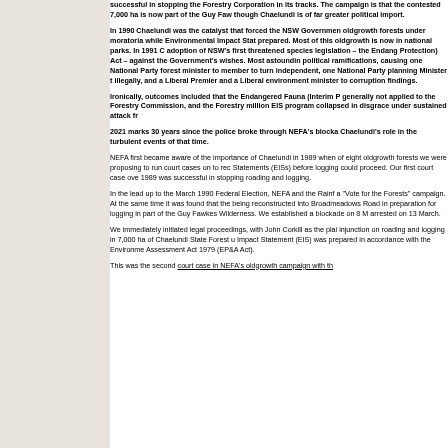successful in stopping the Forestry Corporation in its tracks. The campaign is that the contested 7,000 ha is now part of the Guy Faw though Chaelundi is of far greater political import.
In 1990 Chaelundi was the catalyst that forced the NSW Government oldgrowth forests under moratoria while Environmental Impact Stat prepared. Most of this oldgrowth is now in national parks. In 1991 C adoption of NSW's first threatened species legislation – the Endang Protection) Act – against the Government's wishes. Most astoundin political ramifications, causing one National Party forest minister to member to turn independent, one National Party planning Minister t illegally, and a Liberal Premier and a Liberal environment minister t corruption findings.
Ironically, outcomes included that the Endangered Fauna (Interim P generally not applied to the Forestry Commission, and the Forestry million EIS program collapsed in disgrace under sustained attack fr
2021 marks 30 years since the police broke through NEFA's blocka Chaelundi's role in the turbulent events of that time.
NEFA first became aware of the importance of Chaelundi in 1989 when of eight oldgrowth forests we were proposing to run court cases on to rec Statements (EISs) before logging could proceed. Our first court case ove 1989 was successful in stopping roading and logging.
In the lead up to the March 1990 Federal Election, NEFA and the Rainf a "Vote for the Forests" campaign. At the same time it was found that the being reconstructed into Broadmeadows Road in preparation for logging in part of the Guy Fawkes Wilderness. We established a blockade on 8 M arrested on 13 March.
We immediately initiated legal proceedings, with John Corkill as the plai injunction on roading and logging in 7,000 ha of Chaelundi State Forest u Impact Statement (EIS) was prepared in accordance with the Environme Assessment Act 1979 (EP&A Act).
This was the second court case in NEFA's oldgrowth campaign with th